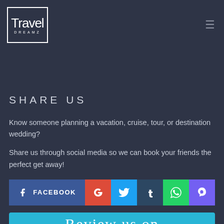[Figure (logo): Travel Dreamz logo inside a white border box with script text 'Travel' and subtitle 'DREAMZ']
SHARE US
Know someone planning a vacation, cruise, tour, or destination wedding?
Share us through social media so we can book your friends the perfect get away!
[Figure (infographic): Social media sharing buttons row: Facebook (blue, wide), Google+ (red), Twitter (cyan), Tumblr (dark blue), WhatsApp (green), Viber (purple)]
Review us on